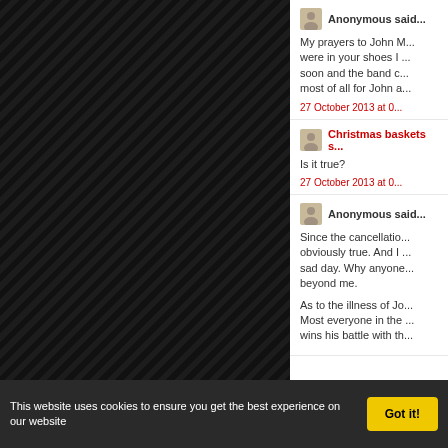[Figure (other): Dark hatched/diagonal stripe pattern background panel on the left side of the page]
Anonymous said...
My prayers to John M... were in your shoes I ... soon and the band c... most of all for John a...
27 October 2013 at 0...
Christmas baskets s...
Is it true?
27 October 2013 at 0...
Anonymous said...
Since the cancellatio... obviously true. And I ... sad day. Why anyone... beyond me.

As to the illness of Jo... Most everyone in the ... wins his battle with th...
This website uses cookies to ensure you get the best experience on our website
Got it!